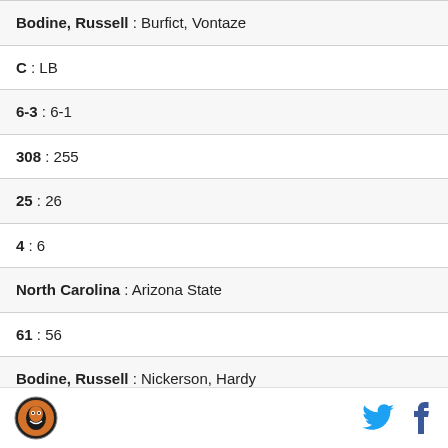| Bodine, Russell : Burfict, Vontaze |
| C : LB |
| 6-3 : 6-1 |
| 308 : 255 |
| 25 : 26 |
| 4 : 6 |
| North Carolina : Arizona State |
| 61 : 56 |
| Bodine, Russell : Nickerson, Hardy |
| C : LB |
| 6-3 : 6-0 |